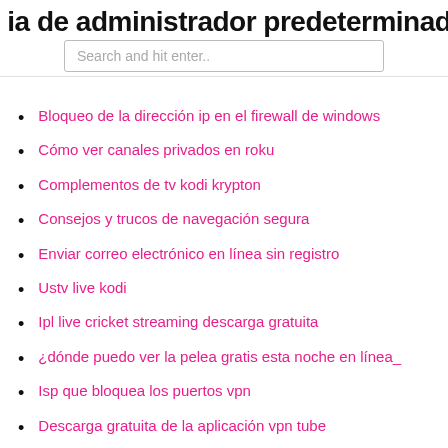ia de administrador predeterminada
Search and hit enter..
Bloqueo de la dirección ip en el firewall de windows
Cómo ver canales privados en roku
Complementos de tv kodi krypton
Consejos y trucos de navegación segura
Enviar correo electrónico en línea sin registro
Ustv live kodi
Ipl live cricket streaming descarga gratuita
¿dónde puedo ver la pelea gratis esta noche en línea_
Isp que bloquea los puertos vpn
Descarga gratuita de la aplicación vpn tube